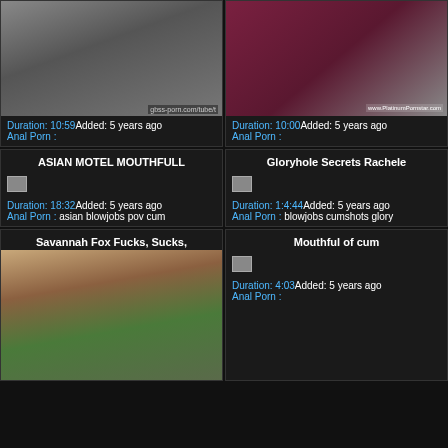[Figure (photo): Adult video thumbnail top left]
Duration: 10:59Added: 5 years ago
Anal Porn :
[Figure (photo): Adult video thumbnail top right]
Duration: 10:00Added: 5 years ago
Anal Porn :
ASIAN MOTEL MOUTHFULL
[Figure (photo): Small broken image thumbnail]
Duration: 18:32Added: 5 years ago
Anal Porn : asian blowjobs pov cum
Gloryhole Secrets Rachele
[Figure (photo): Small broken image thumbnail]
Duration: 1:4:44Added: 5 years ago
Anal Porn : blowjobs cumshots glory
Savannah Fox Fucks, Sucks,
[Figure (photo): Adult video thumbnail bottom left, woman from behind]
Mouthful of cum
[Figure (photo): Small broken image thumbnail]
Duration: 4:03Added: 5 years ago
Anal Porn :